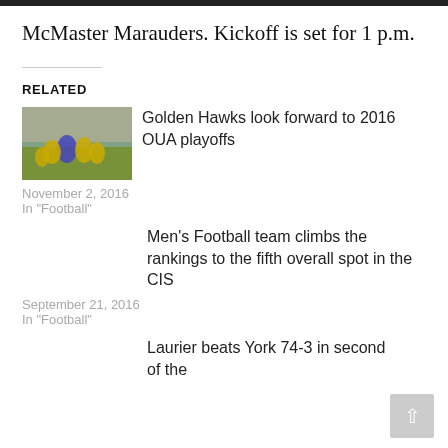McMaster Marauders. Kickoff is set for 1 p.m.
RELATED
[Figure (photo): Football game action photo showing players in yellow and white uniforms]
Golden Hawks look forward to 2016 OUA playoffs
November 2, 2016
In "Football"
Men’s Football team climbs the rankings to the fifth overall spot in the CIS
September 21, 2016
In "Football"
Laurier beats York 74-3 in second of the